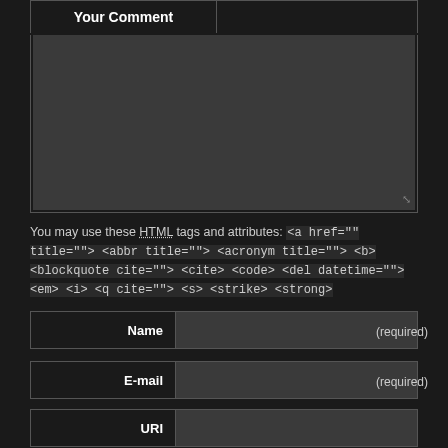Your Comment
[Figure (screenshot): Large textarea input box for comment entry with dark background]
You may use these HTML tags and attributes: <a href="" title=""> <abbr title=""> <acronym title=""> <b> <blockquote cite=""> <cite> <code> <del datetime=""> <em> <i> <q cite=""> <s> <strike> <strong>
Name (required)
E-mail (required)
URI